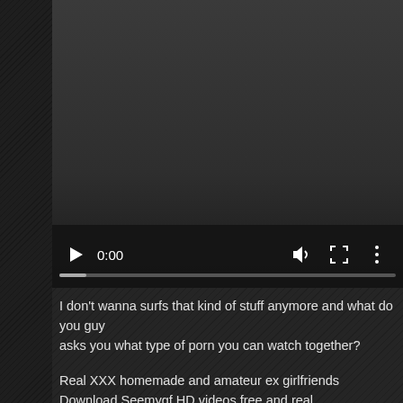[Figure (screenshot): Video player with dark background, showing 0:00 timestamp, play button, volume icon, fullscreen icon, and options icon with a progress bar at bottom]
I don't wanna surfs that kind of stuff anymore and what do you guys asks you what type of porn you can watch together?
Real XXX homemade and amateur ex girlfriends
Download Seemygf HD videos free and real